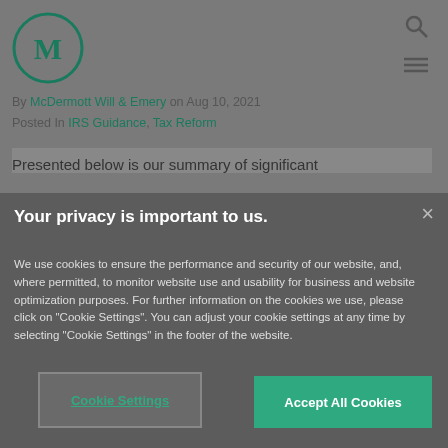[Figure (logo): McDermott Will & Emery circular logo with stylized M]
By McDermott Will & Emery on Aug 10, 2021
Posted In IRS Guidance, Tax Reform
Presented below is our summary of significant
Your privacy is important to us.
We use cookies to ensure the performance and security of our website, and, where permitted, to monitor website use and usability for business and website optimization purposes. For further information on the cookies we use, please click on "Cookie Settings". You can adjust your cookie settings at any time by selecting "Cookie Settings" in the footer of the website.
Cookie Settings
Accept All Cookies